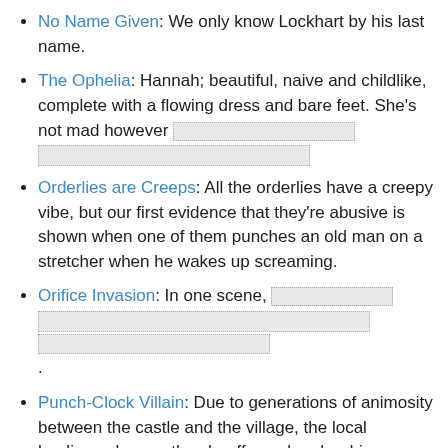No Name Given: We only know Lockhart by his last name.
The Ophelia: Hannah; beautiful, naive and childlike, complete with a flowing dress and bare feet. She's not mad however [redacted]
Orderlies are Creeps: All the orderlies have a creepy vibe, but our first evidence that they're abusive is shown when one of them punches an old man on a stretcher when he wakes up screaming.
Orifice Invasion: In one scene, [redacted].
Punch-Clock Villain: Due to generations of animosity between the castle and the village, the local hooligans harass the chauffeur when he drives patients up the mountain. When he's off duty, they drink in the same bar together without incident